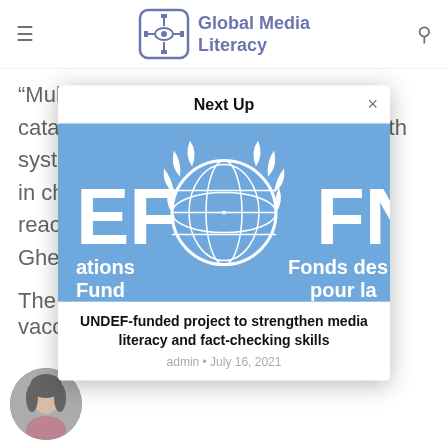Global Media Literacy
“Multiple disease outbreaks would be catastrophic for communities and health systems already battling Covi[d] in ch[arge] reac[h] Gheb[reyesus]
[Figure (screenshot): Next Up modal popup with UNDEF/UN logo banner image showing partial text: EF, ations Fund, UN emblem, FN, Fonds des, pour la]
UNDEF-funded project to strengthen media literacy and fact-checking skills
admin • July 16, 2021
[Figure (photo): Author portrait photo - woman with dark curly hair]